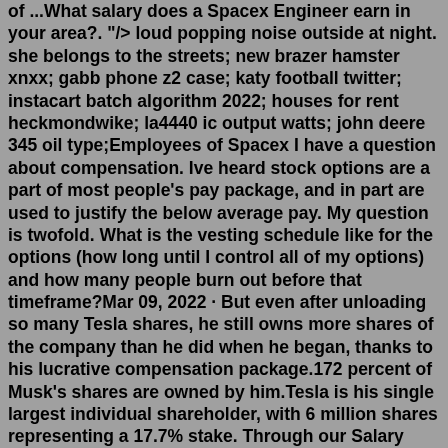of ...What salary does a Spacex Engineer earn in your area?. "/> loud popping noise outside at night. she belongs to the streets; new brazer hamster xnxx; gabb phone z2 case; katy football twitter; instacart batch algorithm 2022; houses for rent heckmondwike; la4440 ic output watts; john deere 345 oil type;Employees of Spacex I have a question about compensation. Ive heard stock options are a part of most people's pay package, and in part are used to justify the below average pay. My question is twofold. What is the vesting schedule like for the options (how long until I control all of my options) and how many people burn out before that timeframe?Mar 09, 2022 · But even after unloading so many Tesla shares, he still owns more shares of the company than he did when he began, thanks to his lucrative compensation package.172 percent of Musk's shares are owned by him.Tesla is his single largest individual shareholder, with 6 million shares representing a 17.7% stake. Through our Salary Negotiation Coaching, we give you the tools, strategies, and confidence to negotiate